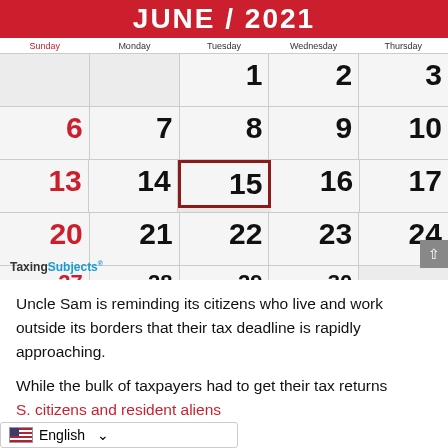[Figure (illustration): June 2021 calendar with the 15th circled in a red box. Days shown include 1-30 with Sunday dates in red. The Taxing Subjects logo appears at the bottom left of the calendar.]
Uncle Sam is reminding its citizens who live and work outside its borders that their tax deadline is rapidly approaching.
While the bulk of taxpayers had to get their tax returns ... S. citizens and resident aliens